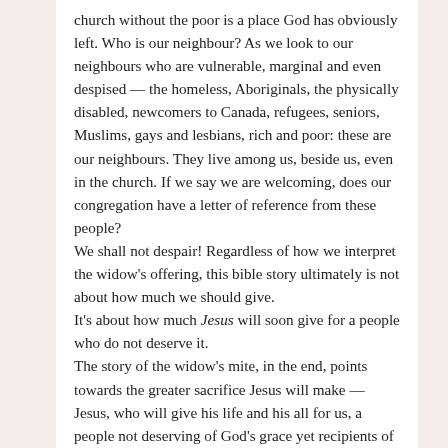church without the poor is a place God has obviously left. Who is our neighbour? As we look to our neighbours who are vulnerable, marginal and even despised — the homeless, Aboriginals, the physically disabled, newcomers to Canada, refugees, seniors, Muslims, gays and lesbians, rich and poor: these are our neighbours. They live among us, beside us, even in the church. If we say we are welcoming, does our congregation have a letter of reference from these people?
We shall not despair! Regardless of how we interpret the widow's offering, this bible story ultimately is not about how much we should give.
It's about how much Jesus will soon give for a people who do not deserve it.
The story of the widow's mite, in the end, points towards the greater sacrifice Jesus will make — Jesus, who will give his life and his all for us, a people not deserving of God's grace yet recipients of it nonetheless.
Where does that leave us?
To be changed, to change. We read in the Bible about people who are changed in Jesus' presence: Peter, John,